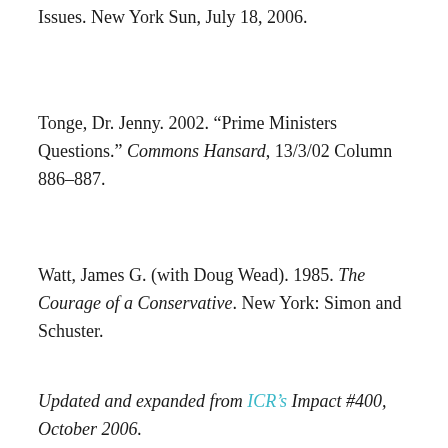Issues. New York Sun, July 18, 2006.
Tonge, Dr. Jenny. 2002. “Prime Ministers Questions.” Commons Hansard, 13/3/02 Column 886–887.
Watt, James G. (with Doug Wead). 1985. The Courage of a Conservative. New York: Simon and Schuster.
Updated and expanded from ICR’s Impact #400, October 2006.